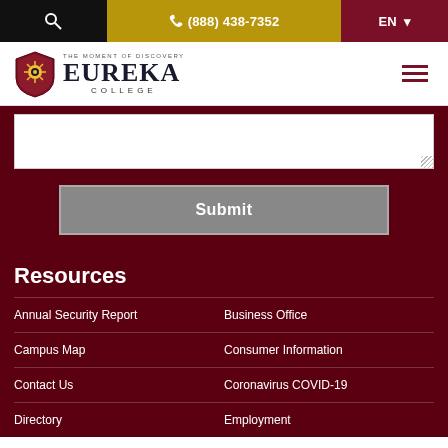🔍  📞 (888) 438-7352  EN ▾
[Figure (logo): Eureka College logo with shield and text 'THE MOMENT OF DISCOVERY / EUREKA COLLEGE']
Submit
Resources
Annual Security Report
Business Office
Campus Map
Consumer Information
Contact Us
Coronavirus COVID-19
Directory
Employment